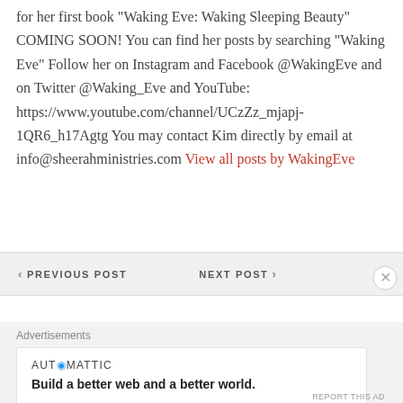for her first book "Waking Eve: Waking Sleeping Beauty" COMING SOON! You can find her posts by searching "Waking Eve" Follow her on Instagram and Facebook @WakingEve and on Twitter @Waking_Eve and YouTube: https://www.youtube.com/channel/UCzZz_mjapj-1QR6_h17Agtg You may contact Kim directly by email at info@sheerahministries.com View all posts by WakingEve
< PREVIOUS POST   NEXT POST >
Advertisements
[Figure (other): Automattic advertisement banner: logo text 'AUT@MATTIC' and tagline 'Build a better web and a better world.']